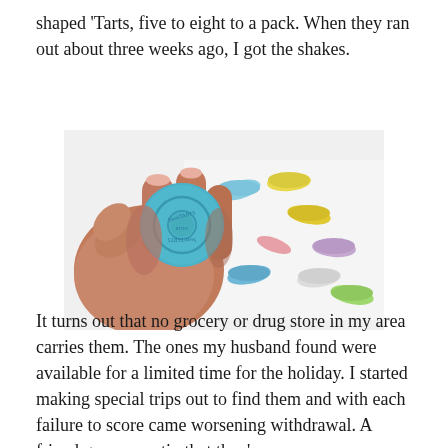shaped ‘Tarts, five to eight to a pack. When they ran out about three weeks ago, I got the shakes.
[Figure (photo): A hand holding a blue Sweetarts candy disc between fingers, with colorful Sweetarts candies scattered in the background on a white surface.]
It turns out that no grocery or drug store in my area carries them. The ones my husband found were available for a limited time for the holiday. I started making special trips out to find them and with each failure to score came worsening withdrawal. A friend gave me a tip that they’re